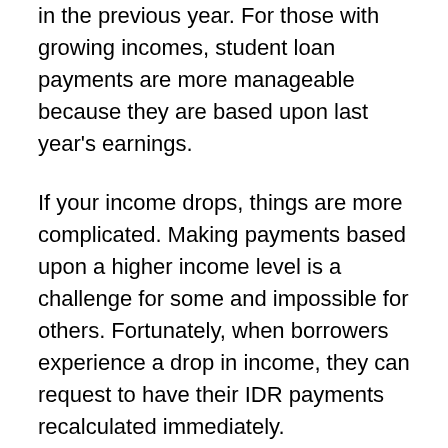in the previous year. For those with growing incomes, student loan payments are more manageable because they are based upon last year's earnings.
If your income drops, things are more complicated. Making payments based upon a higher income level is a challenge for some and impossible for others. Fortunately, when borrowers experience a drop in income, they can request to have their IDR payments recalculated immediately.
When this happens, the borrower usually submits their two most recent paychecks. Independent contractors may not have this option.